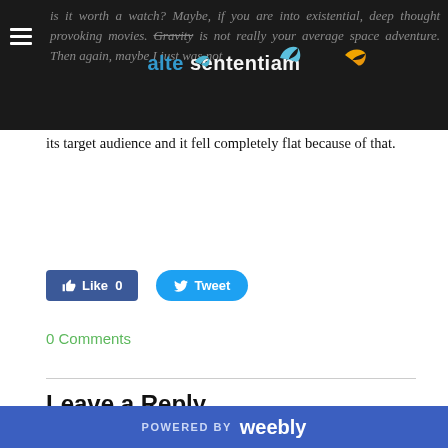Is it worth a watch? Maybe, if you are into existential, deep thought provoking movies. Gravity is not really your average space adventure. Then again, maybe I just was not its target audience and it fell completely flat because of that.
[Figure (screenshot): Website navigation header with hamburger menu icon and site title 'alte sententiam' with decorative bird graphics on dark background]
its target audience and it fell completely flat because of that.
[Figure (screenshot): Facebook Like button with count 0 and Twitter Tweet button]
0 Comments
Leave a Reply.
Name (required)
POWERED BY weebly